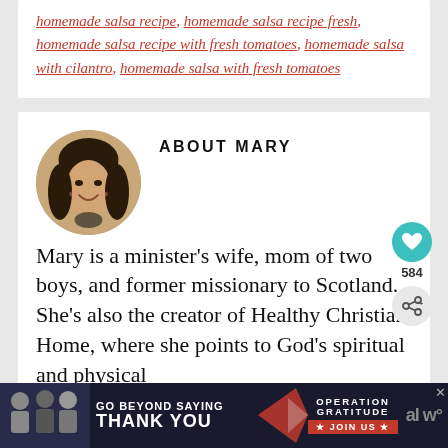homemade salsa recipe, homemade salsa recipe fresh, homemade salsa recipe with fresh tomatoes, homemade salsa with cilantro, homemade salsa with fresh tomatoes
ABOUT MARY
[Figure (photo): Circular profile photo of Mary, a woman with dark hair, smiling]
Mary is a minister's wife, mom of two boys, and former missionary to Scotland. She's also the creator of Healthy Christian Home, where she points to God's spiritual and physical
[Figure (infographic): Advertisement banner: GO BEYOND SAYING THANK YOU - Operation Gratitude JOIN US]
584